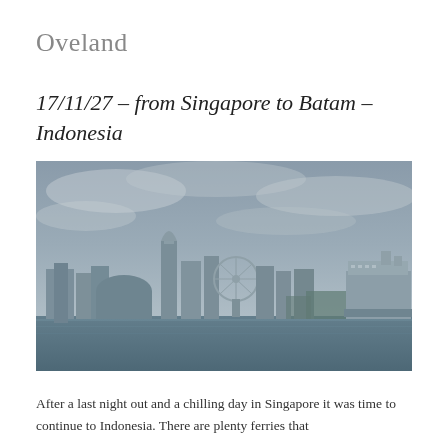Oveland
17/11/27 – from Singapore to Batam – Indonesia
[Figure (photo): Wide panoramic photograph of the Singapore city skyline viewed from the water, showing tall buildings, a distinctive curved tower, a Ferris wheel, and a cruise ship on the right, under a cloudy overcast grey sky reflected in the calm water below.]
After a last night out and a chilling day in Singapore it was time to continue to Indonesia. There are plenty ferries that